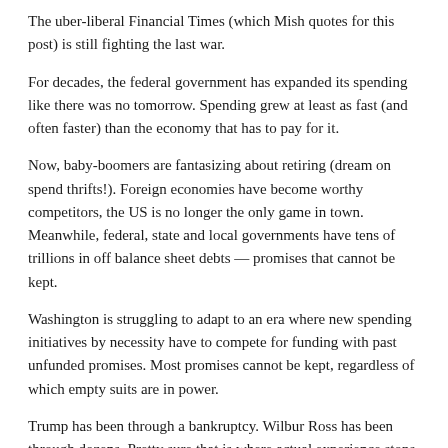The uber-liberal Financial Times (which Mish quotes for this post) is still fighting the last war.
For decades, the federal government has expanded its spending like there was no tomorrow. Spending grew at least as fast (and often faster) than the economy that has to pay for it.
Now, baby-boomers are fantasizing about retiring (dream on spend thrifts!). Foreign economies have become worthy competitors, the US is no longer the only game in town. Meanwhile, federal, state and local governments have tens of trillions in off balance sheet debts — promises that cannot be kept.
Washington is struggling to adapt to an era where new spending initiatives by necessity have to compete for funding with past unfunded promises. Most promises cannot be kept, regardless of which empty suits are in power.
Trump has been through a bankruptcy. Wilbur Ross has been through dozens. Pretty sure that is where actual experience stops.
Congress can't balance their own personal check books, and Goldman survives on regular taxpayer bailouts.
Just because the entire executive committee of IBM thought Lou